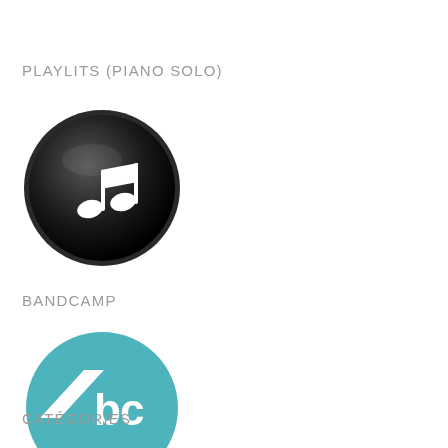PLAYLITS (PIANO SOLO)
[Figure (logo): iTunes music note icon — black circular button with white musical note]
BANDCAMP
[Figure (logo): Bandcamp logo — teal circle with white parallelogram shape and 'bc' text]
CATÉGORIES